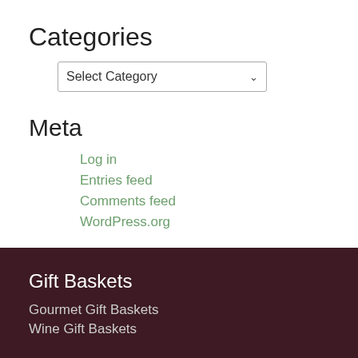Categories
[Figure (screenshot): A dropdown select box labeled 'Select Category' with a chevron arrow on the right]
Meta
Log in
Entries feed
Comments feed
WordPress.org
Gift Baskets
Gourmet Gift Baskets
Wine Gift Baskets